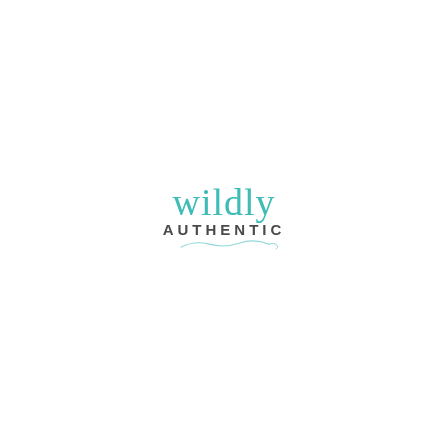[Figure (logo): Wildly Authentic logo: cursive teal/turquoise script 'wildly' over dark gray sans-serif all-caps 'AUTHENTIC', with a decorative teal swash underline beneath]